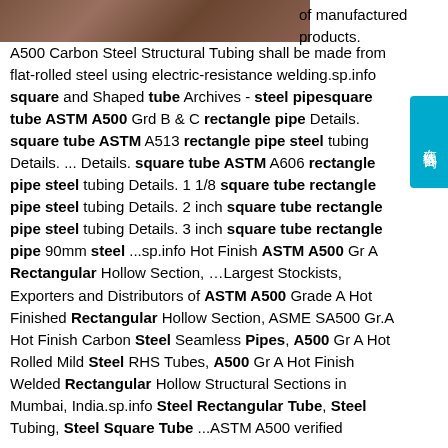[Figure (photo): Partial photo strip of steel tubing/pipe products at the top of the page]
of manufactured products. A500 Carbon Steel Structural Tubing shall be made from flat-rolled steel using electric-resistance welding.sp.info square and Shaped tube Archives - steel pipesquare tube ASTM A500 Grd B & C rectangle pipe Details. square tube ASTM A513 rectangle pipe steel tubing Details. ... Details. square tube ASTM A606 rectangle pipe steel tubing Details. 1 1/8 square tube rectangle pipe steel tubing Details. 2 inch square tube rectangle pipe steel tubing Details. 3 inch square tube rectangle pipe 90mm steel ...sp.info Hot Finish ASTM A500 Gr A Rectangular Hollow Section, …Largest Stockists, Exporters and Distributors of ASTM A500 Grade A Hot Finished Rectangular Hollow Section, ASME SA500 Gr.A Hot Finish Carbon Steel Seamless Pipes, A500 Gr A Hot Rolled Mild Steel RHS Tubes, A500 Gr A Hot Finish Welded Rectangular Hollow Structural Sections in Mumbai, India.sp.info Steel Rectangular Tube, Steel Tubing, Steel Square Tube ...ASTM A500 verified